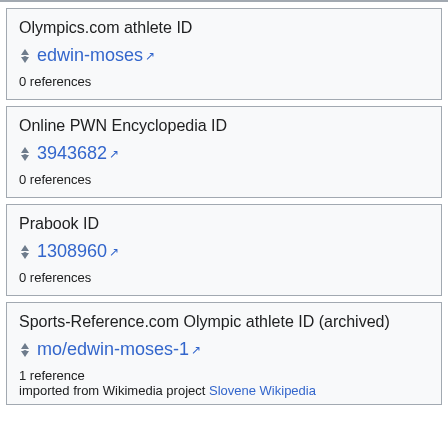Olympics.com athlete ID
edwin-moses [external link]
0 references
Online PWN Encyclopedia ID
3943682 [external link]
0 references
Prabook ID
1308960 [external link]
0 references
Sports-Reference.com Olympic athlete ID (archived)
mo/edwin-moses-1 [external link]
1 reference
imported from Wikimedia project Slovene Wikipedia